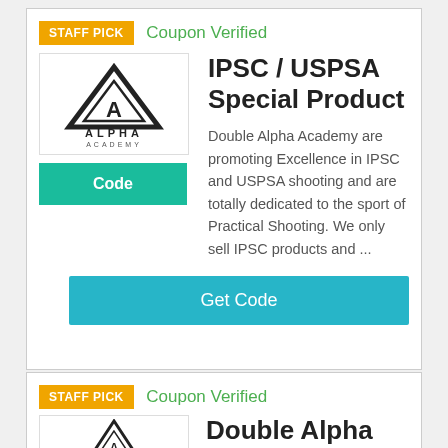[Figure (other): Staff Pick badge (orange) and Coupon Verified label (green) for first card]
[Figure (logo): Alpha Academy triangle logo with text ALPHA ACADEMY]
IPSC / USPSA Special Product
Double Alpha Academy are promoting Excellence in IPSC and USPSA shooting and are totally dedicated to the sport of Practical Shooting. We only sell IPSC products and ...
[Figure (other): Green Code button]
[Figure (other): Teal Get Code button]
[Figure (other): Staff Pick badge (orange) and Coupon Verified label (green) for second card]
Double Alpha